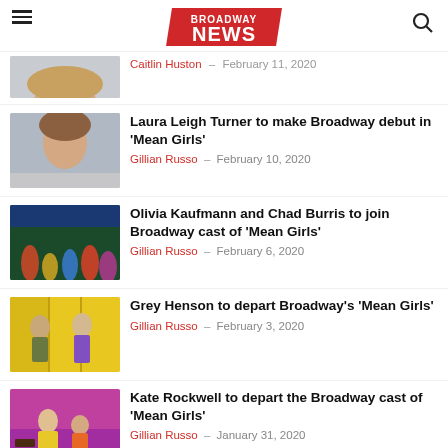Broadway News
Gillian Russo - February 11, 2020 (partial article at top)
Laura Leigh Turner to make Broadway debut in 'Mean Girls' — Gillian Russo - February 10, 2020
Olivia Kaufmann and Chad Burris to join Broadway cast of 'Mean Girls' — Gillian Russo - February 6, 2020
Grey Henson to depart Broadway's 'Mean Girls' — Gillian Russo - February 3, 2020
Kate Rockwell to depart the Broadway cast of 'Mean Girls' — Gillian Russo - January 31, 2020